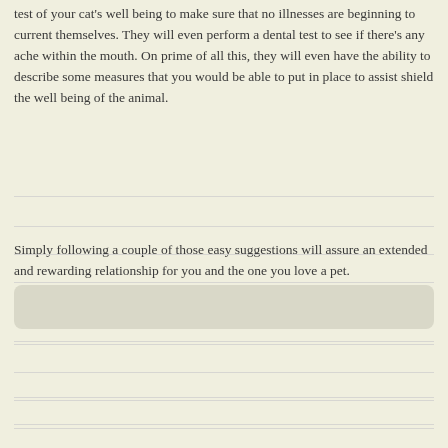test of your cat's well being to make sure that no illnesses are beginning to current themselves. They will even perform a dental test to see if there's any ache within the mouth. On prime of all this, they will even have the ability to describe some measures that you would be able to put in place to assist shield the well being of the animal.
Simply following a couple of those easy suggestions will assure an extended and rewarding relationship for you and the one you love a pet.